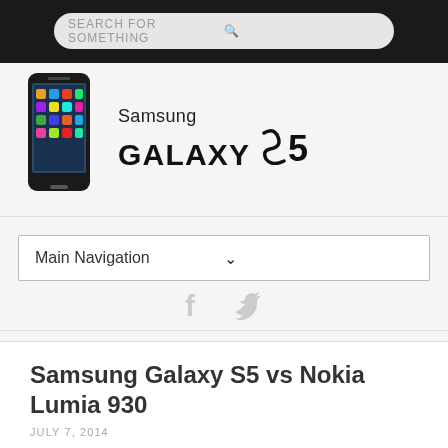[Figure (screenshot): Search bar with rounded rectangle input field on dark background, placeholder text 'SEARCH FOR SOMETHING' and magnifying glass icon]
[Figure (logo): Samsung Galaxy S5 logo with phone illustration on left and Samsung GALAXY S5 text on right]
Main Navigation
[Figure (infographic): Social media icons: Facebook and Twitter in light gray]
Samsung Galaxy S5 vs Nokia Lumia 930
JULY 7, 2014